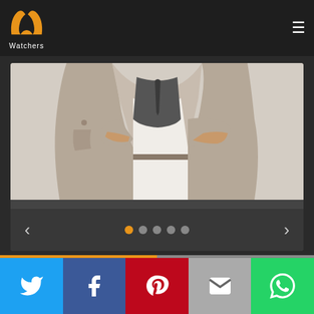[Figure (logo): PP Watchers logo with orange/yellow stylized horns icon and 'Watchers' text below in white]
[Figure (photo): Person wearing a beige/tan trench coat with dark shirt underneath, hands crossed at waist, partial upper body view]
Columbo
Character : Janie Brandt